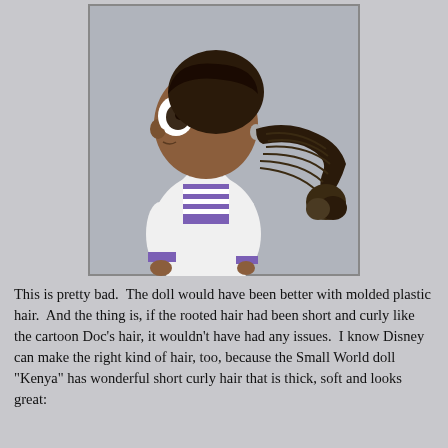[Figure (photo): A toy doll with dark skin, large eyes, and a long dark braided ponytail. The doll is wearing a white lab coat over a purple and white striped shirt. The doll appears to be a Doc McStuffins character, viewed in profile facing left.]
This is pretty bad.  The doll would have been better with molded plastic hair.  And the thing is, if the rooted hair had been short and curly like the cartoon Doc's hair, it wouldn't have had any issues.  I know Disney can make the right kind of hair, too, because the Small World doll "Kenya" has wonderful short curly hair that is thick, soft and looks great: